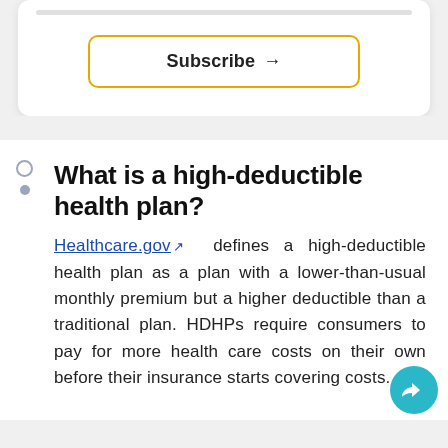[Figure (other): Subscribe button with orange/yellow border and arrow, inside a white card with rounded corners]
What is a high-deductible health plan?
Healthcare.gov defines a high-deductible health plan as a plan with a lower-than-usual monthly premium but a higher deductible than a traditional plan. HDHPs require consumers to pay for more health care costs on their own before their insurance starts covering costs.